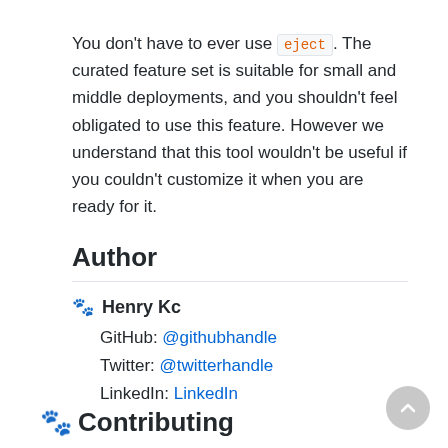You don't have to ever use eject. The curated feature set is suitable for small and middle deployments, and you shouldn't feel obligated to use this feature. However we understand that this tool wouldn't be useful if you couldn't customize it when you are ready for it.
Author
🐾 Henry Kc
GitHub: @githubhandle
Twitter: @twitterhandle
LinkedIn: LinkedIn
🐾 Contributing